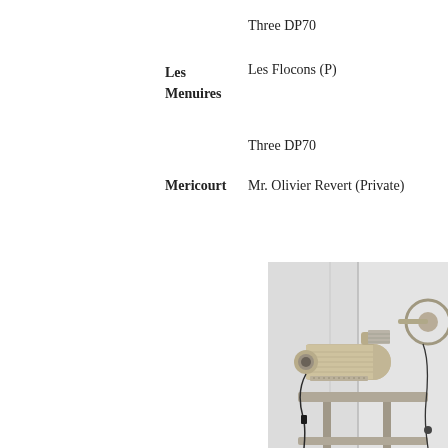Three DP70
Les Menuires
Les Flocons (P)
Three DP70
Mericourt
Mr. Olivier Revert (Private)
[Figure (photo): A cinema film projector (DP70 model) mounted on a stand against a white wall, shown in beige/champagne metallic finish with visible lens, reels, and cables.]